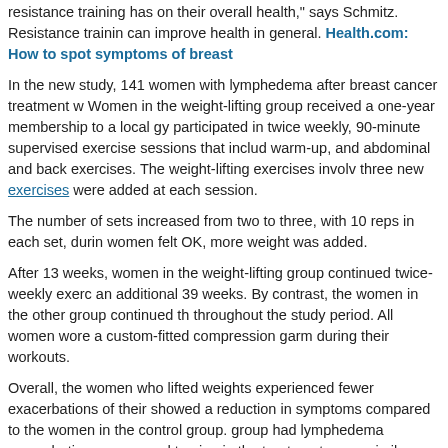resistance training has on their overall health," says Schmitz. Resistance training can improve health in general. Health.com: How to spot symptoms of breast
In the new study, 141 women with lymphedema after breast cancer treatment w... Women in the weight-lifting group received a one-year membership to a local gy... participated in twice weekly, 90-minute supervised exercise sessions that includ... warm-up, and abdominal and back exercises. The weight-lifting exercises involv... three new exercises were added at each session.
The number of sets increased from two to three, with 10 reps in each set, during... women felt OK, more weight was added.
After 13 weeks, women in the weight-lifting group continued twice-weekly exerc... an additional 39 weeks. By contrast, the women in the other group continued th... throughout the study period. All women wore a custom-fitted compression garm... during their workouts.
Overall, the women who lifted weights experienced fewer exacerbations of their... showed a reduction in symptoms compared to the women in the control group.... group had lymphedema exacerbations, compared to nine in the treatment group... similar proportion of women in both groups showed an increase of 5 percent or
Health Library
MayoClinic.com: Lymphedema
MayoClinic.com: Mastectomy: Surgery to treat or prevent breast cancer
Kleinman-Barnett currently prescribes ran... stretching, and massage to stimulate lymp... will now incorporate weight lifting using 2 t... increase it, and teach them how to monito... are not increasing swelling," she said. Rec... be making things worse include more swe... the arm, she said.
Dr. Marisa Weiss, the president and founder of the advocacy group Breastcance